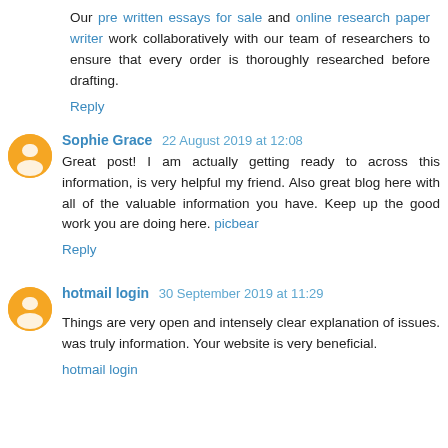Our pre written essays for sale and online research paper writer work collaboratively with our team of researchers to ensure that every order is thoroughly researched before drafting.
Reply
Sophie Grace  22 August 2019 at 12:08
Great post! I am actually getting ready to across this information, is very helpful my friend. Also great blog here with all of the valuable information you have. Keep up the good work you are doing here. picbear
Reply
hotmail login  30 September 2019 at 11:29
Things are very open and intensely clear explanation of issues. was truly information. Your website is very beneficial.
hotmail login